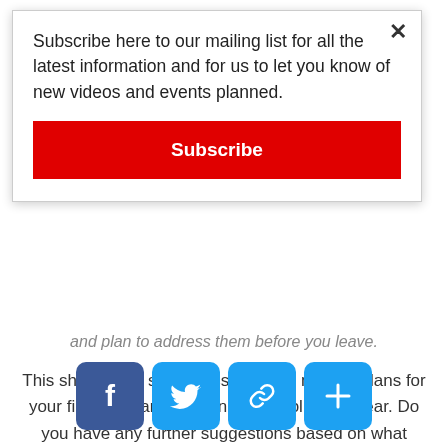Subscribe here to our mailing list for all the latest information and for us to let you know of new videos and events planned.
[Figure (other): Red Subscribe button]
and plan to address them before you leave.
This short guide should assist you in making plans for your first caravan vacation for the following year. Do you have any further suggestions based on what you’ve learned? Or do you have any queries you’d want to ask? Please share them with us in the comments box below.
[Figure (other): Social sharing icons: Facebook, Twitter, Link/Copy, Plus/Share]